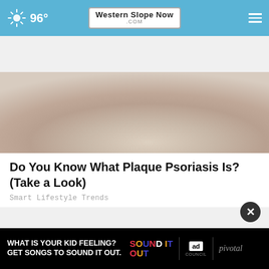96° WesternSlopeNow.com
[Figure (photo): Close-up photo of a human heel/foot showing dry, cracked, flaky skin on a wooden floor background, suggesting plaque psoriasis symptoms]
Do You Know What Plaque Psoriasis Is? (Take a Look)
Smart Lifestyle Trends
[Figure (photo): Photo of an outdoor wall-mounted light fixture with a bare light bulb against a textured stucco wall]
[Figure (infographic): Advertisement banner: 'WHAT IS YOUR KID FEELING? GET SONGS TO SOUND IT OUT.' with Sound It Out and Ad Council logos, pivotal branding]